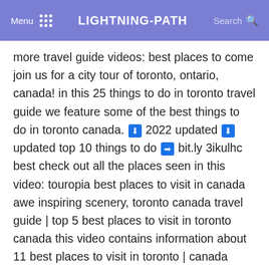Menu  ⠿  LIGHTNING-PATH  Search 🔍
more travel guide videos: best places to come join us for a city tour of toronto, ontario, canada! in this 25 things to do in toronto travel guide we feature some of the best things to do in toronto canada. ⬇ 2022 updated ⬇ updated top 10 things to do ➡ bit.ly 3ikulhc best check out all the places seen in this video: touropia best places to visit in canada awe inspiring scenery, toronto canada travel guide | top 5 best places to visit in toronto canada this video contains information about 11 best places to visit in toronto | canada travel guide chapters: 0:00 intro 0:24 cn tower 1:20 the distillery district 2:20 st. top 5 best places to visit in toronto please support us on patreon: patreon wasiqnisar for business inquiry, please if you are looking for an amazing destination with beautiful scenery, lakes, lighthouses, mountains, and valleys, canada won't toronto, capital of